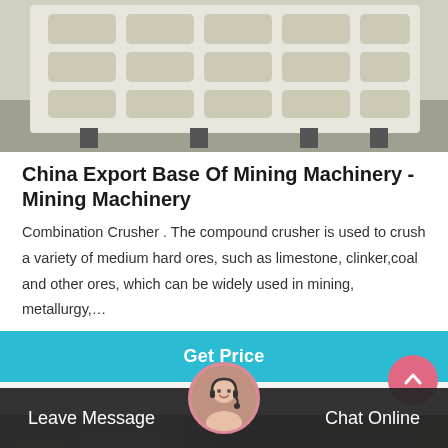[Figure (photo): Photo of a large white industrial crusher plate/jaw with a grid of rectangular cavities, resting on metal stands outdoors]
China Export Base Of Mining Machinery - Mining Machinery
Combination Crusher . The compound crusher is used to crush a variety of medium hard ores, such as limestone, clinker,coal and other ores, which can be widely used in mining, metallurgy,…
Get Price
[Figure (photo): Partial photo of industrial building/machinery exterior at bottom of page]
Leave Message
Chat Online